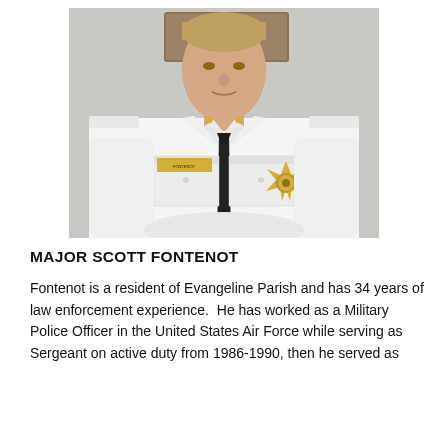[Figure (photo): Official portrait photo of Major Scott Fontenot in white law enforcement uniform with gold sheriff star badge and black tie, standing in front of a wall with a Wildlife & Fisheries Enforcement sign visible in the background.]
MAJOR SCOTT FONTENOT
Fontenot is a resident of Evangeline Parish and has 34 years of law enforcement experience.  He has worked as a Military Police Officer in the United States Air Force while serving as Sergeant on active duty from 1986-1990, then he served as